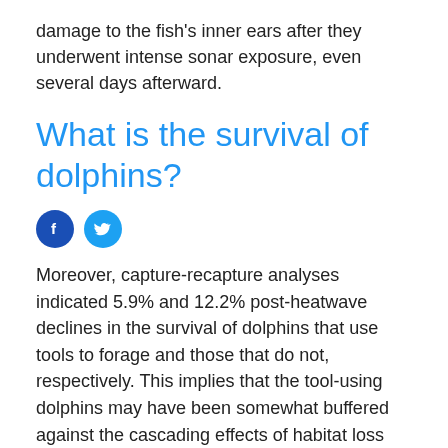damage to the fish's inner ears after they underwent intense sonar exposure, even several days afterward.
What is the survival of dolphins?
[Figure (other): Social media share icons: Facebook (dark blue circle with 'f') and Twitter (light blue circle with bird icon)]
Moreover, capture-recapture analyses indicated 5.9% and 12.2% post-heatwave declines in the survival of dolphins that use tools to forage and those that do not, respectively. This implies that the tool-using dolphins may have been somewhat buffered against the cascading effects of habitat loss following the heatwave by having access to a less severely affected foraging niche [4].